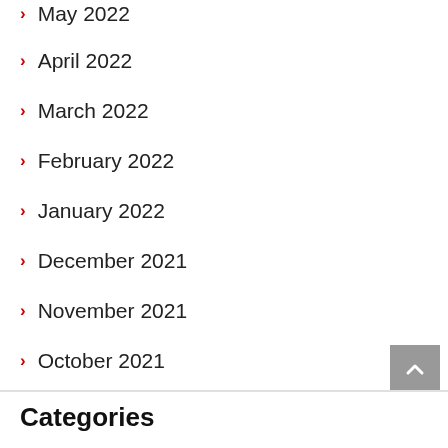May 2022
April 2022
March 2022
February 2022
January 2022
December 2021
November 2021
October 2021
September 2021
Categories